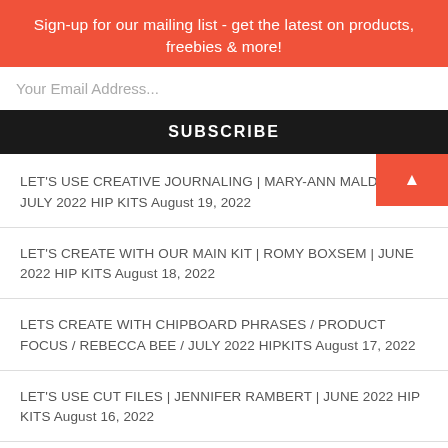Sign-up for our mailing list - get the latest on products, freebies & more!
Your Email Address...
SUBSCRIBE
LET'S USE CREATIVE JOURNALING | MARY-ANN MALDONAD JULY 2022 HIP KITS August 19, 2022
LET'S CREATE WITH OUR MAIN KIT | ROMY BOXSEM | JUNE 2022 HIP KITS August 18, 2022
LETS CREATE WITH CHIPBOARD PHRASES / PRODUCT FOCUS / REBECCA BEE / JULY 2022 HIPKITS August 17, 2022
LET'S USE CUT FILES | JENNIFER RAMBERT | JUNE 2022 HIP KITS August 16, 2022
LET'S GET MESSY WITH MIXED MEDIA | July 2022...